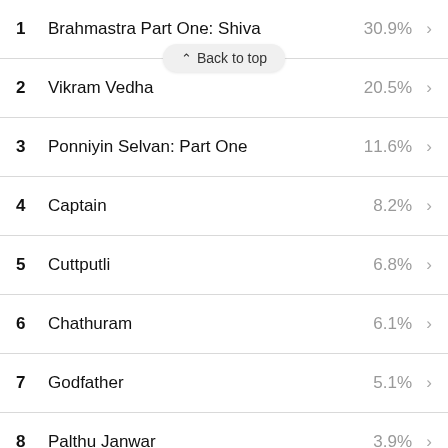1  Brahmastra Part One: Shiva  30.9%
2  Vikram Vedha  20.5%
3  Ponniyin Selvan: Part One  11.6%
4  Captain  8.2%
5  Cuttputli  6.8%
6  Chathuram  6.1%
7  Godfather  5.1%
8  Palthu Janwar  3.9%
9  Pathombatham Noottandu  3.8%